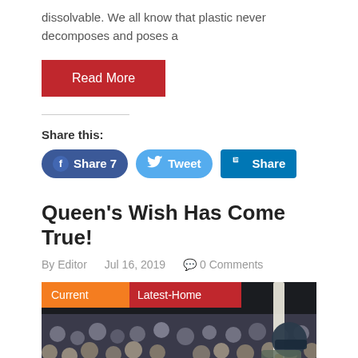dissolvable. We all know that plastic never decomposes and poses a
Read More
Share this:
Share 7
Tweet
Share
Queen's Wish Has Come True!
By Editor   Jul 16, 2019   0 Comments
[Figure (photo): Cricket player with bat in front of a crowd, with 'Current' (orange) and 'Latest-Home' (red) category tags overlaid on the image.]